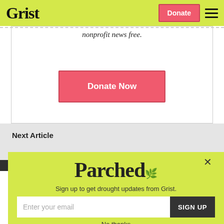Grist
nonprofit news free.
Donate Now
Next Article
[Figure (screenshot): Parched newsletter signup popup with email input and Sign Up button on a yellow-green background]
No thanks